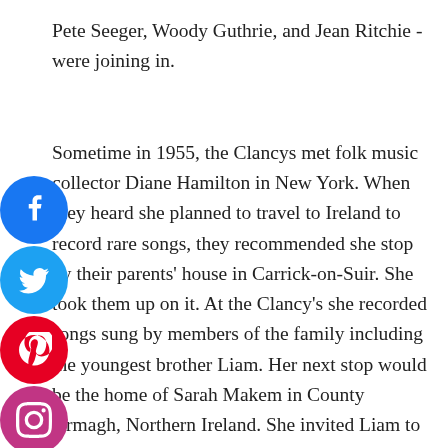Pete Seeger, Woody Guthrie, and Jean Ritchie - were joining in.
Sometime in 1955, the Clancys met folk music collector Diane Hamilton in New York. When they heard she planned to travel to Ireland to record rare songs, they recommended she stop by their parents' house in Carrick-on-Suir. She took them up on it. At the Clancy's she recorded songs sung by members of the family including the youngest brother Liam. Her next stop would be the home of Sarah Makem in County Armagh, Northern Ireland. She invited Liam to join her on the trip. That's where Liam met Sarah's son Tommy, which started a lifelong
[Figure (infographic): Social media sharing icons arranged vertically on the left side: Facebook (blue circle with f), Twitter (cyan circle with bird), Pinterest (red circle with P), Instagram (pink/purple circle with camera outline), Email (dark red circle with envelope)]